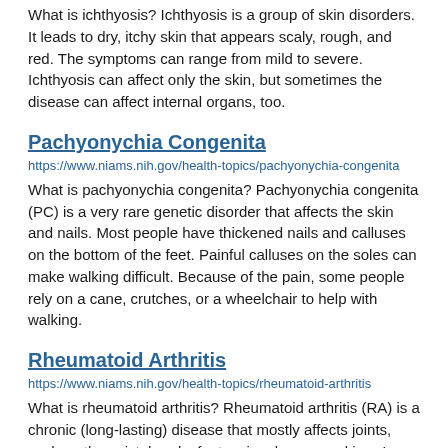What is ichthyosis? Ichthyosis is a group of skin disorders. It leads to dry, itchy skin that appears scaly, rough, and red. The symptoms can range from mild to severe. Ichthyosis can affect only the skin, but sometimes the disease can affect internal organs, too.
Pachyonychia Congenita
https://www.niams.nih.gov/health-topics/pachyonychia-congenita
What is pachyonychia congenita? Pachyonychia congenita (PC) is a very rare genetic disorder that affects the skin and nails. Most people have thickened nails and calluses on the bottom of the feet. Painful calluses on the soles can make walking difficult. Because of the pain, some people rely on a cane, crutches, or a wheelchair to help with walking.
Rheumatoid Arthritis
https://www.niams.nih.gov/health-topics/rheumatoid-arthritis
What is rheumatoid arthritis? Rheumatoid arthritis (RA) is a chronic (long-lasting) disease that mostly affects joints, such as the wrist, hands, feet, spine, knees, and jaw. In joints, RA causes inflammation that leads to: Pain. Swelling Stiffness. Loss of function. Rheumatoid arthritis is an autoimmune disorder because the immune system attacks the healthy joint tissues. Normally, the immune system helps protect the body from infection and disease. RA may cause you to